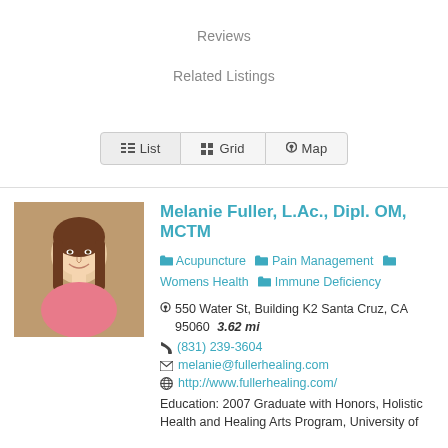Reviews
Related Listings
[Figure (screenshot): Tab bar with List, Grid, Map buttons]
[Figure (photo): Headshot photo of Melanie Fuller, a woman with long brown hair wearing a pink shirt]
Melanie Fuller, L.Ac., Dipl. OM, MCTM
Acupuncture  Pain Management  Womens Health  Immune Deficiency
550 Water St, Building K2 Santa Cruz, CA 95060  3.62 mi
(831) 239-3604
melanie@fullerhealing.com
http://www.fullerhealing.com/
Education: 2007 Graduate with Honors, Holistic Health and Healing Arts Program, University of